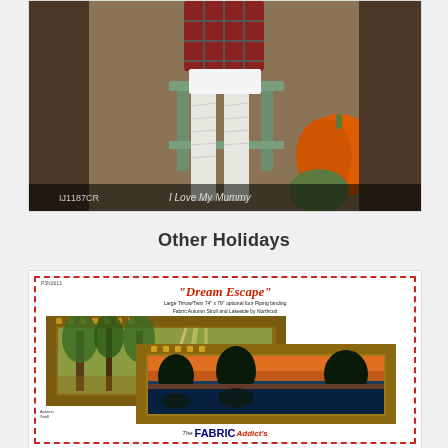[Figure (photo): Product photo showing a person dressed as a mummy in white bandages sitting on a green stool, with orange pumpkins visible in the background. Product code IJ1187CR labeled 'I Love My Mummy'.]
Other Holidays
[Figure (photo): Quilt pattern product image for 'Dream Escape' pattern (P3N2613). Large Throw/Twin 74 x 79 with optional four piping binding. Fabric Autumn Stroll and Lakeside by Northcutt. Shows two framed quilt designs with woodland and lake panel scenery.]